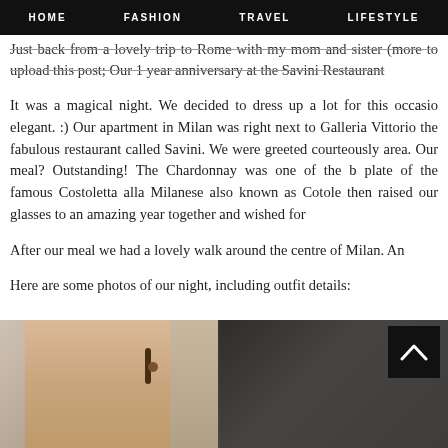HOME   FASHION   TRAVEL   LIFESTYLE
Just back from a lovely trip to Rome with my mom and sister (more to upload this post; Our 1 year anniversary at the Savini Restaurant
It was a magical night. We decided to dress up a lot for this occasion elegant. :) Our apartment in Milan was right next to Galleria Vittorio the fabulous restaurant called Savini. We were greeted courteously area. Our meal? Outstanding! The Chardonnay was one of the b plate of the famous Costoletta alla Milanese also known as Colotet then raised our glasses to an amazing year together and wished for
After our meal we had a lovely walk around the centre of Milan. An
Here are some photos of our night, including outfit details:
[Figure (photo): Close-up photo of a woman's face and ear with a dangling earring, blurred fashion/lifestyle blog photo]